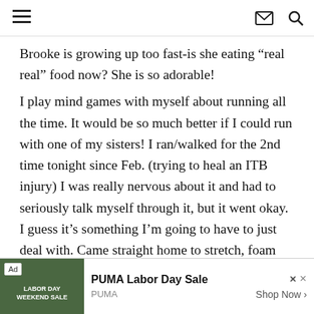[Navigation bar with hamburger menu, mail icon, and search icon]
Brooke is growing up too fast-is she eating “real real” food now? She is so adorable!
I play mind games with myself about running all the time. It would be so much better if I could run with one of my sisters! I ran/walked for the 2nd time tonight since Feb. (trying to heal an ITB injury) I was really nervous about it and had to seriously talk myself through it, but it went okay. I guess it’s something I’m going to have to just deal with. Came straight home to stretch, foam roll, and ice. I seriously HATE to roll, but it does feel better afterwards.
[Figure (other): Advertisement banner: PUMA Labor Day Sale with jungle/camouflage background image, Ad badge, PUMA brand label, 'Shop Now >' button]